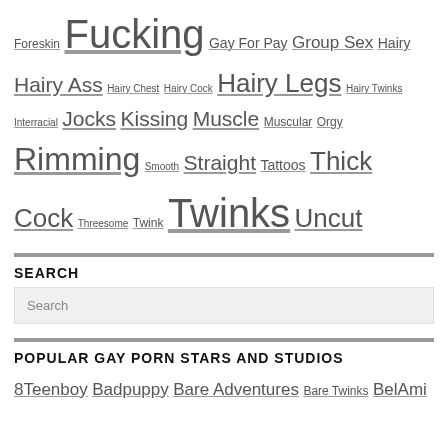Foreskin Fucking Gay For Pay Group Sex Hairy Hairy Ass Hairy Chest Hairy Cock Hairy Legs Hairy Twinks Interracial Jocks Kissing Muscle Muscular Orgy Rimming Smooth Straight Tattoos Thick Cock Threesome Twink Twinks Uncut
SEARCH
Search
POPULAR GAY PORN STARS AND STUDIOS
8Teenboy Badpuppy Bare Adventures Bare Twinks BelAmi